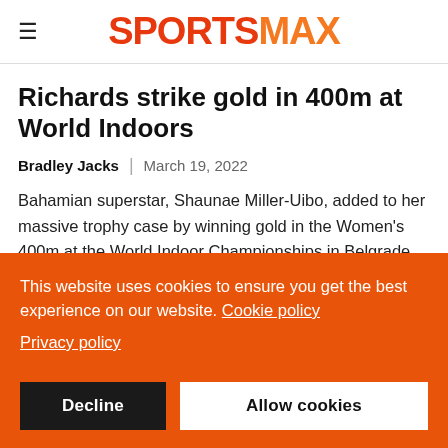≡ SPORTSMAX
Richards strike gold in 400m at World Indoors
Bradley Jacks  |  March 19, 2022
Bahamian superstar, Shaunae Miller-Uibo, added to her massive trophy case by winning gold in the Women's 400m at the World Indoor Championships in Belgrade on Saturday. Adding to a bronze...
This website uses cookies to ensure you get the best experience on our website. Cookie policy
Privacy policy
Decline  Allow cookies